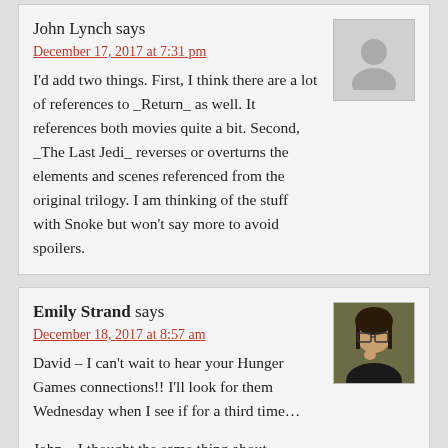John Lynch says
December 17, 2017 at 7:31 pm
I'd add two things. First, I think there are a lot of references to _Return_ as well. It references both movies quite a bit. Second, _The Last Jedi_ reverses or overturns the elements and scenes referenced from the original trilogy. I am thinking of the stuff with Snoke but won't say more to avoid spoilers.
Emily Strand says
December 18, 2017 at 8:57 am
David – I can't wait to hear your Hunger Games connections!! I'll look for them Wednesday when I see if for a third time…
John – I thought the same thing about Last/Return – ironic reversals in the new Star Wars sequel trilogy seem to be a thing so far. The Force Awakens definitely did not get enough credit for how it – as you say – overturns or reverses elements or themes that it echoes from the original film. People just decried it as copying